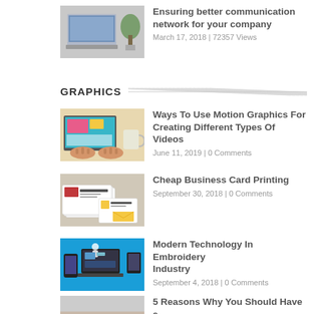[Figure (photo): Laptop with screen showing content, plant in background]
Ensuring better communication network for your company
March 17, 2018 | 72357 Views
GRAPHICS
[Figure (photo): Person typing on laptop with graphics on screen]
Ways To Use Motion Graphics For Creating Different Types Of Videos
June 11, 2019 | 0 Comments
[Figure (photo): Business cards printing samples]
Cheap Business Card Printing
September 30, 2018 | 0 Comments
[Figure (photo): Illustration of modern technology devices on blue background]
Modern Technology In Embroidery Industry
September 4, 2018 | 0 Comments
[Figure (photo): Group of people, partial view]
5 Reasons Why You Should Have a Logo?